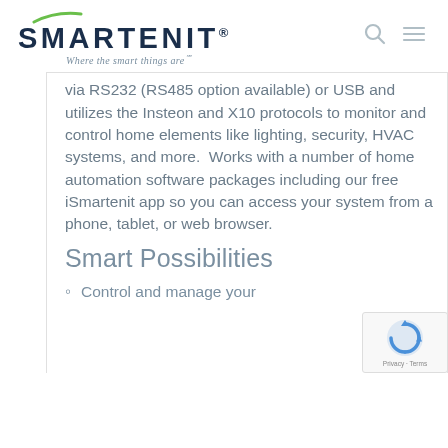SMARTENIT® — Where the smart things are℠
via RS232 (RS485 option available) or USB and utilizes the Insteon and X10 protocols to monitor and control home elements like lighting, security, HVAC systems, and more.  Works with a number of home automation software packages including our free iSmartenit app so you can access your system from a phone, tablet, or web browser.
Smart Possibilities
Control and manage your